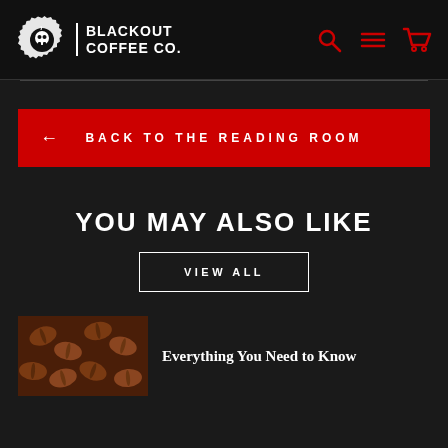BLACKOUT COFFEE CO.
← BACK TO THE READING ROOM
YOU MAY ALSO LIKE
VIEW ALL
Everything You Need to Know